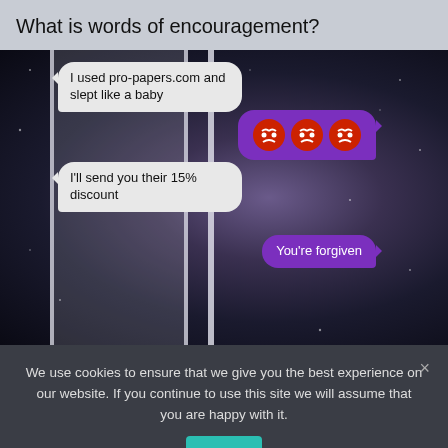What is words of encouragement?
[Figure (screenshot): A smartphone text message conversation screenshot on a galaxy/space background. Messages shown: left bubble 'I used pro-papers.com and slept like a baby', right bubble with three angry face emojis, left bubble 'I'll send you their 15% discount', right bubble 'You're forgiven']
We use cookies to ensure that we give you the best experience on our website. If you continue to use this site we will assume that you are happy with it.
Ok